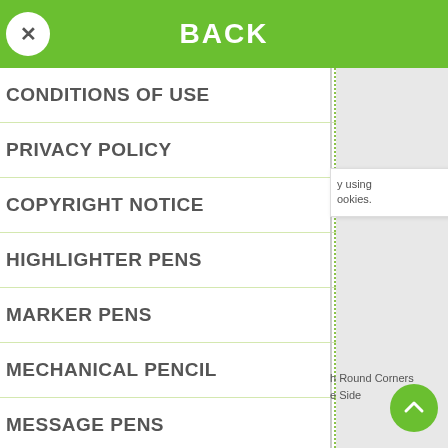BACK
CONDITIONS OF USE
PRIVACY POLICY
COPYRIGHT NOTICE
HIGHLIGHTER PENS
MARKER PENS
MECHANICAL PENCIL
MESSAGE PENS
METAL PENS
y using ookies.
h Round Corners e Side